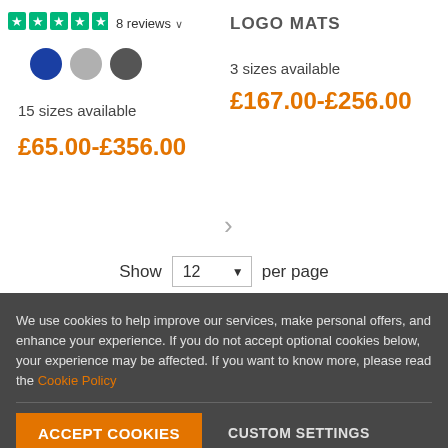★★★★★ 8 reviews ∨
[Figure (other): Three color swatches: blue, light gray, dark gray circles]
LOGO MATS
15 sizes available
3 sizes available
£65.00-£356.00
£167.00-£256.00
>
Show 12 per page
We use cookies to help improve our services, make personal offers, and enhance your experience. If you do not accept optional cookies below, your experience may be affected. If you want to know more, please read the Cookie Policy
ACCEPT COOKIES
CUSTOM SETTINGS